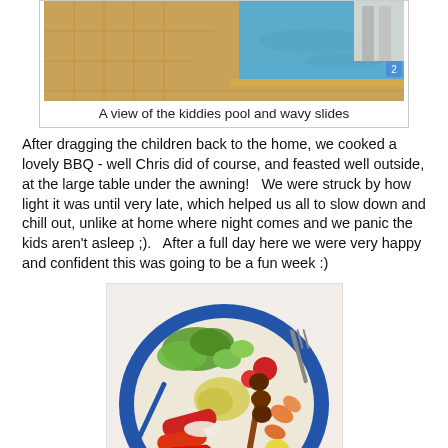[Figure (photo): A view of the kiddies pool and wavy slides — top portion of image showing pool tiles and blue water]
A view of the kiddies pool and wavy slides
After dragging the children back to the home, we cooked a lovely BBQ - well Chris did of course, and feasted well outside, at the large table under the awning!   We were struck by how light it was until very late, which helped us all to slow down and chill out, unlike at home where night comes and we panic the kids aren't asleep ;).   After a full day here we were very happy and confident this was going to be a fun week :)
[Figure (photo): A blue plate filled with BBQ food including salad greens, cucumber, tomatoes, red peppers, grilled meat skewers, shrimp, and a fork]
On the Monday morning we were due to meet Catherine